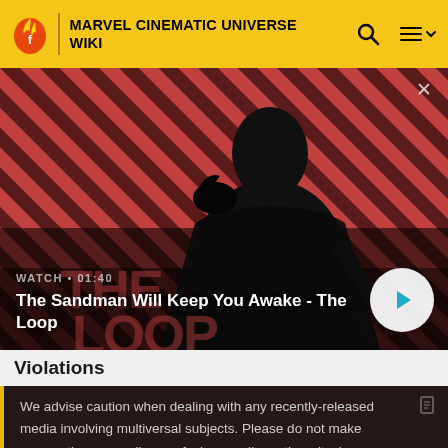MARVEL CINEMATIC UNIVERSE WIKI
[Figure (screenshot): Video thumbnail showing a pale dark-haired man in a black coat with a raven on his shoulder, against a red and dark diagonal-striped background. Text overlay: WATCH • 01:40. Title: The Sandman Will Keep You Awake - The Loop. Play button visible bottom right. Close X top right.]
Violations
We advise caution when dealing with any recently-released media involving multiversal subjects. Please do not make assumptions regarding confusing wording, other sites' speculation, and people's headcanon around the internet.